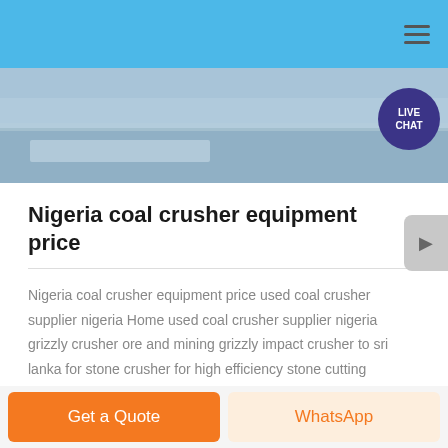[Figure (photo): Photograph of industrial equipment or machinery, likely a crusher, shown in a muted blue-grey tone. A purple Live Chat badge appears in the top-right corner.]
Nigeria coal crusher equipment price
Nigeria coal crusher equipment price used coal crusher supplier nigeria Home used coal crusher supplier nigeria grizzly crusher ore and mining grizzly impact crusher to sri lanka for stone crusher for high efficiency stone cutting equipment Get Price high quality used jaw mobile crusher for high grade crushed sand and high quality aggregates jaw crusher